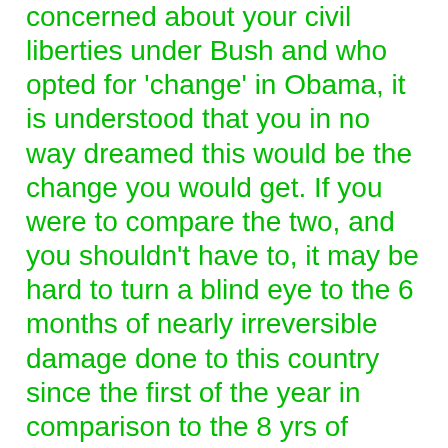concerned about your civil liberties under Bush and who opted for 'change' in Obama, it is understood that you in no way dreamed this would be the change you would get. If you were to compare the two, and you shouldn't have to, it may be hard to turn a blind eye to the 6 months of nearly irreversible damage done to this country since the first of the year in comparison to the 8 yrs of Bush. The percipient ones understood Bush facilitated change with his policies, however such prescient knowledge no doubt lacked full spectrum affects of how the change would ultimately be realized. Hindsight, as they say is 20/20.
As in any storm the winds change directions, sometimes from one way to another, other